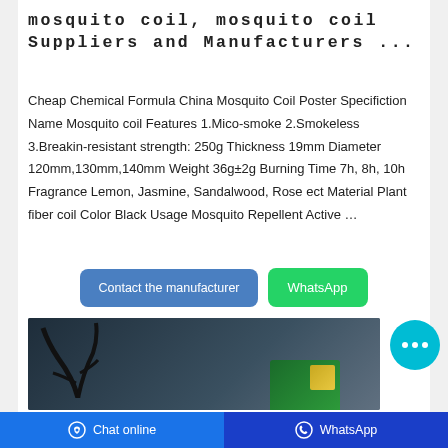mosquito coil, mosquito coil Suppliers and Manufacturers ...
Cheap Chemical Formula China Mosquito Coil Poster Specifiction Name Mosquito coil Features 1.Mico-smoke 2.Smokeless 3.Breakin-resistant strength: 250g Thickness 19mm Diameter 120mm,130mm,140mm Weight 36g±2g Burning Time 7h, 8h, 10h Fragrance Lemon, Jasmine, Sandalwood, Rose ect Material Plant fiber coil Color Black Usage Mosquito Repellent Active …
[Figure (screenshot): Two call-to-action buttons: a blue 'Contact the manufacturer' button and a green 'WhatsApp' button]
[Figure (photo): Product photo showing mosquito coil packaging with plant decoration against a dark blue background]
[Figure (other): Cyan circular chat bubble icon with three dots]
Chat online   WhatsApp